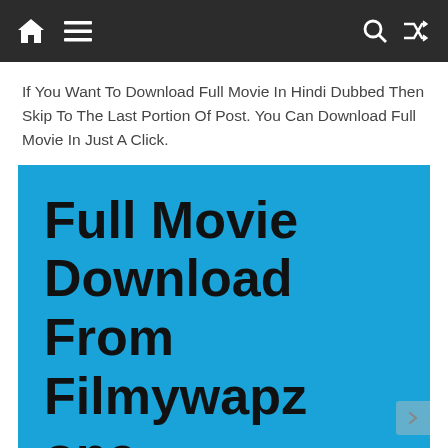Navigation bar with home icon, menu icon, search icon, shuffle icon
If You Want To Download Full Movie In Hindi Dubbed Then Skip To The Last Portion Of Post. You Can Download Full Movie In Just A Click.
[Figure (infographic): Blue box with large bold text reading 'Full Movie Download From Filmywapzone' with a right arrow button on the right side]